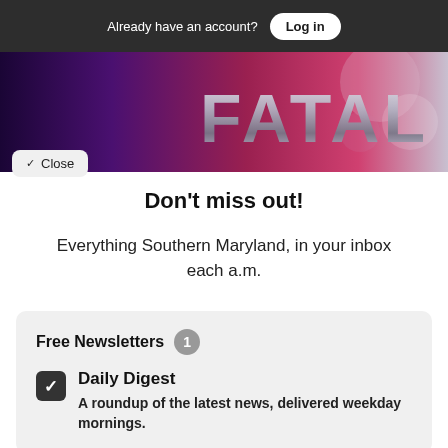Already have an account? Log in
[Figure (photo): Banner image with dark purple/pink background and large metallic FATAL text overlay, with a Close button in bottom-left]
Don't miss out!
Everything Southern Maryland, in your inbox each a.m.
Free Newsletters 1
Daily Digest
A roundup of the latest news, delivered weekday mornings.